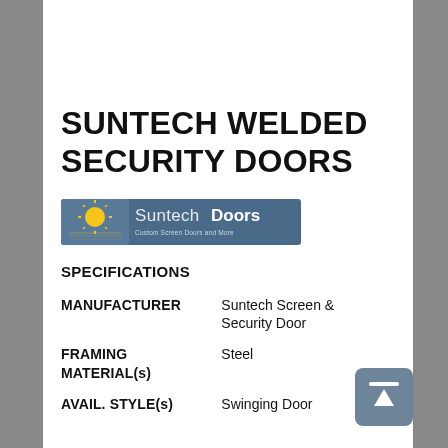SUNTECH WELDED SECURITY DOORS
[Figure (logo): Suntech Doors logo — yellow sun graphic on left, blue background with text 'Suntech Doors, Custom Screen Doors and More']
SPECIFICATIONS
| Field | Value |
| --- | --- |
| MANUFACTURER | Suntech Screen & Security Door |
| FRAMING MATERIAL(s) | Steel |
| AVAIL. STYLE(s) | Swinging Door |